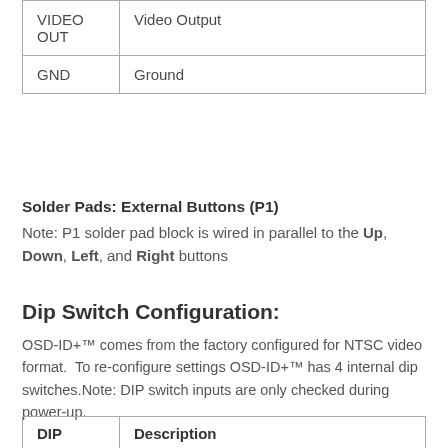|  |  |
| --- | --- |
| VIDEO OUT | Video Output |
| GND | Ground |
Solder Pads: External Buttons (P1)
Note: P1 solder pad block is wired in parallel to the Up, Down, Left, and Right buttons
Dip Switch Configuration:
OSD-ID+™ comes from the factory configured for NTSC video format.  To re-configure settings OSD-ID+™ has 4 internal dip switches.Note: DIP switch inputs are only checked during power-up.
| DIP | Description |
| --- | --- |